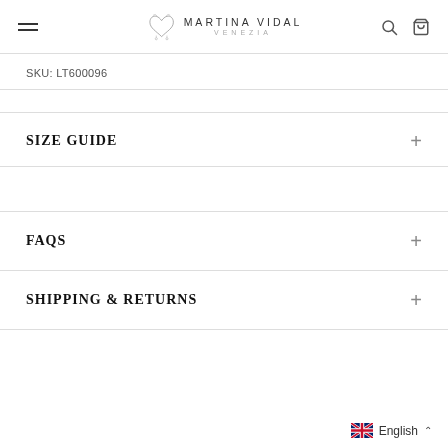Martina Vidal Jewelry — navigation header with hamburger menu, logo, search and bag icons
SKU: LT600096
SIZE GUIDE
FAQS
SHIPPING & RETURNS
English